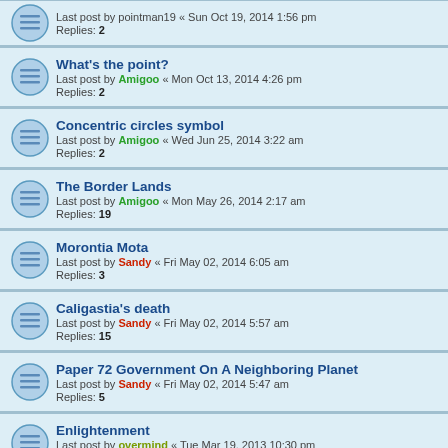What's the point?
Last post by Amigoo « Mon Oct 13, 2014 4:26 pm
Replies: 2
Concentric circles symbol
Last post by Amigoo « Wed Jun 25, 2014 3:22 am
Replies: 2
The Border Lands
Last post by Amigoo « Mon May 26, 2014 2:17 am
Replies: 19
Morontia Mota
Last post by Sandy « Fri May 02, 2014 6:05 am
Replies: 3
Caligastia's death
Last post by Sandy « Fri May 02, 2014 5:57 am
Replies: 15
Paper 72 Government On A Neighboring Planet
Last post by Sandy « Fri May 02, 2014 5:47 am
Replies: 5
Enlightenment
Last post by overmind « Tue Mar 19, 2013 10:30 pm
Replies: 11
The Definition of Immortality?
Last post by 11light11 « Mon Feb 25, 2013 9:50 pm
Replies: 8
Personality In Relation to Soul
Last post by ...